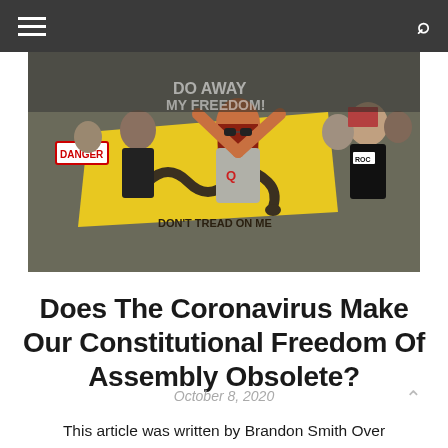[Figure (photo): Protest scene with people holding a yellow Gadsden flag with a coiled snake; a woman with red hair and sunglasses holds the flag overhead; signs visible in background including 'DANGER'; people wearing various t-shirts at an outdoor rally]
Does The Coronavirus Make Our Constitutional Freedom Of Assembly Obsolete?
October 8, 2020
This article was written by Brandon Smith Over